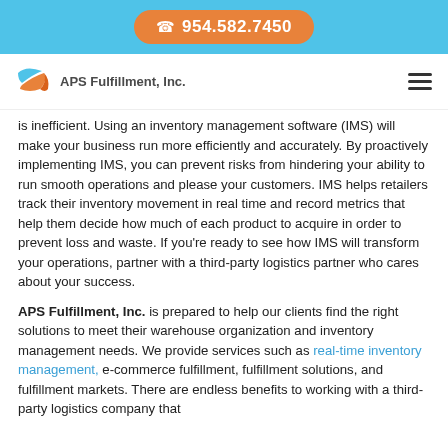954.582.7450
[Figure (logo): APS Fulfillment, Inc. logo with stylized swoosh graphic and company name]
is inefficient. Using an inventory management software (IMS) will make your business run more efficiently and accurately. By proactively implementing IMS, you can prevent risks from hindering your ability to run smooth operations and please your customers. IMS helps retailers track their inventory movement in real time and record metrics that help them decide how much of each product to acquire in order to prevent loss and waste. If you're ready to see how IMS will transform your operations, partner with a third-party logistics partner who cares about your success.
APS Fulfillment, Inc. is prepared to help our clients find the right solutions to meet their warehouse organization and inventory management needs. We provide services such as real-time inventory management, e-commerce fulfillment, fulfillment solutions, and fulfillment markets. There are endless benefits to working with a third-party logistics company that